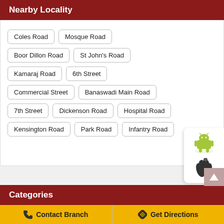Nearby Locality
Coles Road
Mosque Road
Boor Dillon Road
St John's Road
Kamaraj Road
6th Street
Commercial Street
Banaswadi Main Road
7th Street
Dickenson Road
Hospital Road
Kensington Road
Park Road
Infantry Road
[Figure (screenshot): Android and Apple app download icons overlay on right side]
Categories
Contact Branch
Get Directions